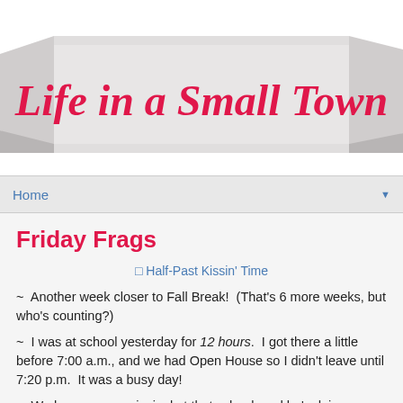Life in a Small Town
Home
Friday Frags
[Figure (illustration): Linked image placeholder for Half-Past Kissin' Time]
~  Another week closer to Fall Break!  (That's 6 more weeks, but who's counting?)
~  I was at school yesterday for 12 hours.  I got there a little before 7:00 a.m., and we had Open House so I didn't leave until 7:20 p.m.  It was a busy day!
~  We have a new principal at that school, and he's doing a GREAT job! When the new principal first took the job, it...